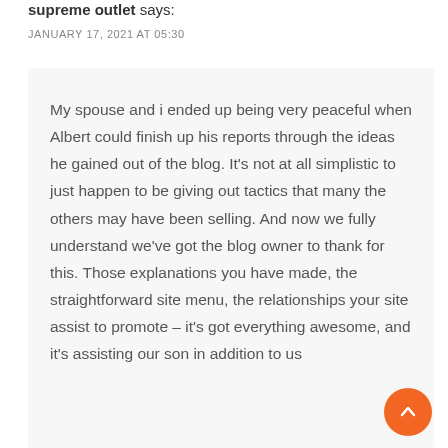supreme outlet says:
JANUARY 17, 2021 AT 05:30
My spouse and i ended up being very peaceful when Albert could finish up his reports through the ideas he gained out of the blog. It's not at all simplistic to just happen to be giving out tactics that many the others may have been selling. And now we fully understand we've got the blog owner to thank for this. Those explanations you have made, the straightforward site menu, the relationships your site assist to promote – it's got everything awesome, and it's assisting our son in addition to us